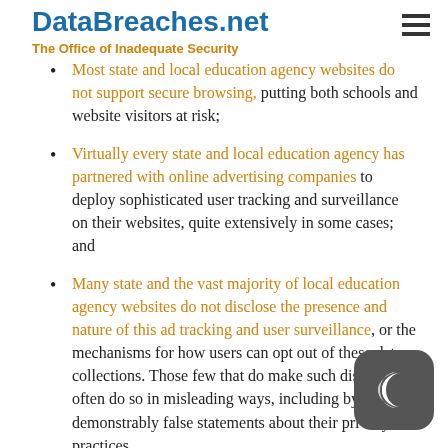DataBreaches.net
The Office of Inadequate Security
Most state and local education agency websites do not support secure browsing, putting both schools and website visitors at risk;
Virtually every state and local education agency has partnered with online advertising companies to deploy sophisticated user tracking and surveillance on their websites, quite extensively in some cases; and
Many state and the vast majority of local education agency websites do not disclose the presence and nature of this ad tracking and user surveillance, or the mechanisms for how users can opt out of these data collections. Those few that do make such disclosures often do so in misleading ways, including by making demonstrably false statements about their privacy practices.
The use of third-party ad tracking and online surveillance technology was found to be nearly universal on both state and